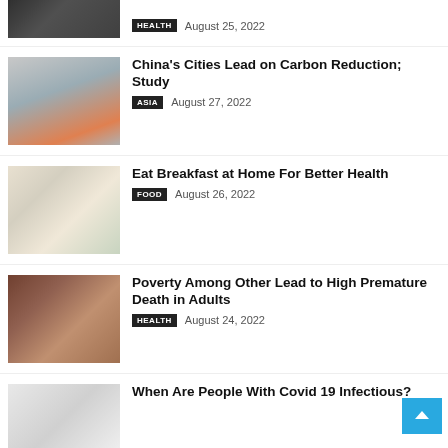[Figure (photo): Partial dark photo at top, person with something]
HEALTH   August 25, 2022
[Figure (photo): Industrial chimney with smoke against sky]
China's Cities Lead on Carbon Reduction; Study
ASIA   August 27, 2022
[Figure (photo): Breakfast food on plates with berries]
Eat Breakfast at Home For Better Health
FOOD   August 26, 2022
[Figure (photo): Hands holding grain/seeds]
Poverty Among Other Lead to High Premature Death in Adults
HEALTH   August 24, 2022
[Figure (photo): Light gray/white abstract photo for Covid article]
When Are People With Covid 19 Infectious?